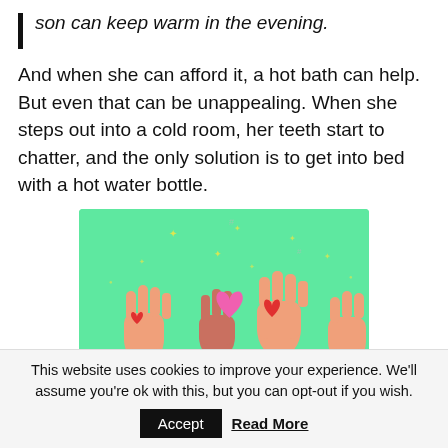son can keep warm in the evening.
And when she can afford it, a hot bath can help. But even that can be unappealing. When she steps out into a cold room, her teeth start to chatter, and the only solution is to get into bed with a hot water bottle.
[Figure (illustration): Illustration on a mint green background showing hands raised holding colourful hearts (red, pink, magenta), with small sparkle decorations scattered in the background.]
This website uses cookies to improve your experience. We'll assume you're ok with this, but you can opt-out if you wish.
Accept  Read More